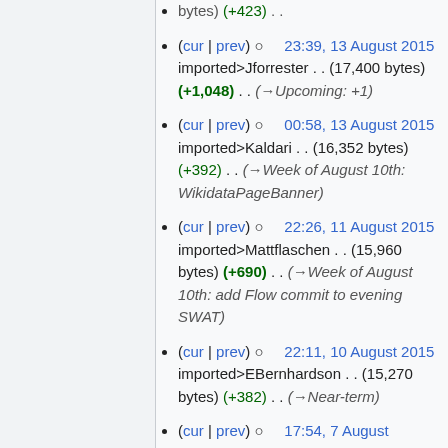(cur | prev) 23:39, 13 August 2015 imported>Jforrester . . (17,400 bytes) (+1,048) . . (→Upcoming: +1)
(cur | prev) 00:58, 13 August 2015 imported>Kaldari . . (16,352 bytes) (+392) . . (→Week of August 10th: WikidataPageBanner)
(cur | prev) 22:26, 11 August 2015 imported>Mattflaschen . . (15,960 bytes) (+690) . . (→Week of August 10th: add Flow commit to evening SWAT)
(cur | prev) 22:11, 10 August 2015 imported>EBernhardson . . (15,270 bytes) (+382) . . (→Near-term)
(cur | prev) 17:54, 7 August